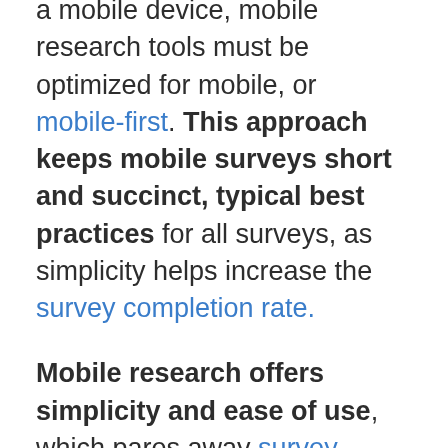a mobile device, mobile research tools must be optimized for mobile, or mobile-first. This approach keeps mobile surveys short and succinct, typical best practices for all surveys, as simplicity helps increase the survey completion rate.
Mobile research offers simplicity and ease of use, which pares away survey fatigue, a prevalent concern in the sphere of market research. There is little to no effort required of customers to take part in a mobile survey.
The device is already in their hands and typically with just one tap, they can enter the survey. In this way, it is far more simple